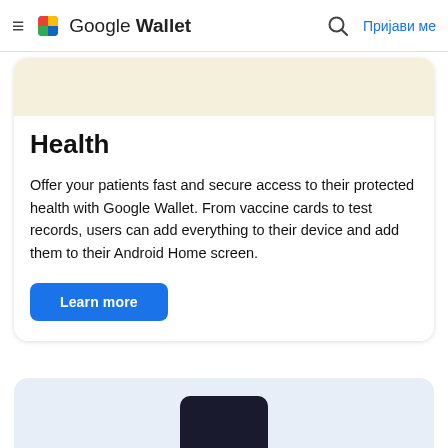≡  Google Wallet  🔍  Пријави ме
[Figure (screenshot): Beige/cream colored banner image at the top of the Health card]
Health
Offer your patients fast and secure access to their protected health with Google Wallet. From vaccine cards to test records, users can add everything to their device and add them to their Android Home screen.
Learn more
[Figure (screenshot): Light blue card at the bottom of the page showing a phone/device partially visible]